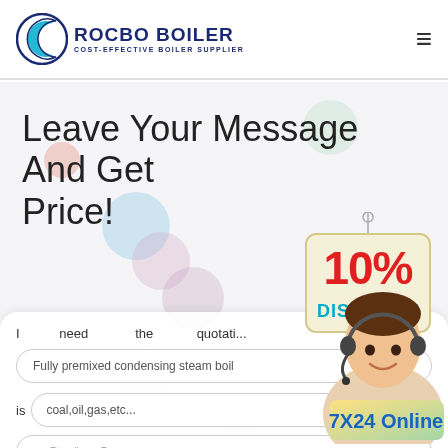[Figure (logo): Rocbo Boiler logo — circular crescent moon icon in blue/teal, company name ROCBO BOILER in dark navy bold, tagline COST-EFFECTIVE BOILER SUPPLIER]
Leave Your Message And Get Price!
[Figure (infographic): 10% DISCOUNT badge — red 10% on cream/beige wooden-sign styled badge with DISCOUNT in teal bold lettering]
[Figure (photo): Customer service agent woman wearing headset, smiling, partially visible on right side]
I need the quotation of
Fully premixed condensing steam boil
is coal,oil,gas,etc... , this boiler is
eg:5ton/h or 5mw
[Figure (infographic): 7X24 Online badge in blue text on yellow-green gradient background]